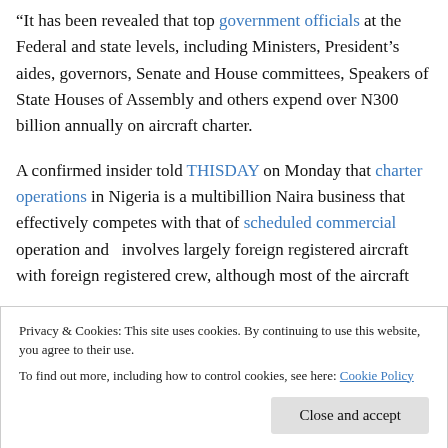“It has been revealed that top government officials at the Federal and state levels, including Ministers, President’s aides, governors, Senate and House committees, Speakers of State Houses of Assembly and others expend over N300 billion annually on aircraft charter.
A confirmed insider told THISDAY on Monday that charter operations in Nigeria is a multibillion Naira business that effectively competes with that of scheduled commercial operation and   involves largely foreign registered aircraft with foreign registered crew, although most of the aircraft
some Nigerian businessmen and women.
Privacy & Cookies: This site uses cookies. By continuing to use this website, you agree to their use.
To find out more, including how to control cookies, see here: Cookie Policy